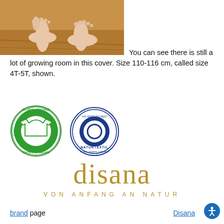[Figure (photo): Photo of a child's bare feet on a wooden floor, showing feet with space in shoe/cover.]
You can see there is still a lot of growing room in this cover. Size 110-116 cm, called size 4T-5T, shown.
[Figure (logo): Global Organic Textile Standard (GOTS) certification logo - green circular badge with t-shirt icon]
[Figure (logo): IVN Certified Best / Naturtextil certification logo - blue circular badge]
[Figure (logo): Disana brand logo - 'disana' in gold/amber serif font with tagline 'VON ANFANG AN NATUR']
Disana brand page